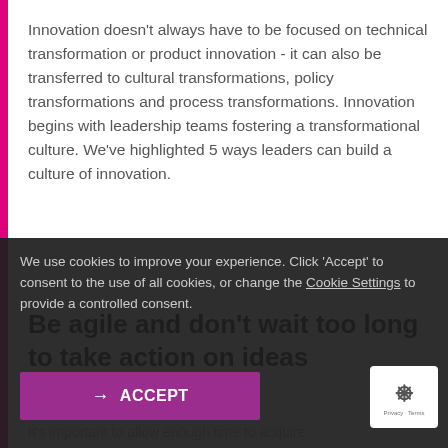Innovation doesn't always have to be focused on technical transformation or product innovation - it can also be transferred to cultural transformations, policy transformations and process transformations. Innovation begins with leadership teams fostering a transformational culture. We've highlighted 5 ways leaders can build a culture of innovation.
Be agile and don't wait too long to take action on ideas
We use cookies to improve your experience. Click 'Accept' to consent to the use of all cookies, or change the Cookie Settings to provide a controlled consent.
ACCEPT